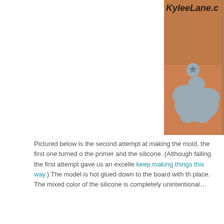[Figure (photo): Two hands holding gray silicone cloud-shaped molds. The left mold has a small star cutout near the top. Partial watermark text 'KyleeLane.c' visible at top. Photo is cropped, showing two panels side by side.]
Pictured below is the second attempt at making the mold, the first one turned o[ut poorly due to a reaction between] the primer and the silicone. (Although failing the first attempt gave us an excelle[nt reason to keep making things this way.) The model is hot glued down to the board with th[e clay to hold it in] place. The mixed color of the silicone is completely unintentional…